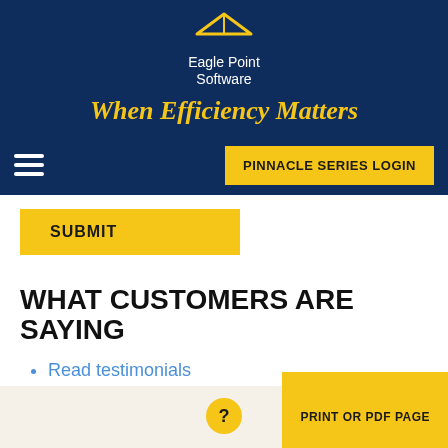[Figure (logo): Eagle Point Software logo with house/roof icon above the company name]
When Efficiency Matters
PINNACLE SERIES LOGIN
SUBMIT
WHAT CUSTOMERS ARE SAYING
Read testimonials
Browse case studies
BLOG CATEGORIES
PRINT OR PDF PAGE